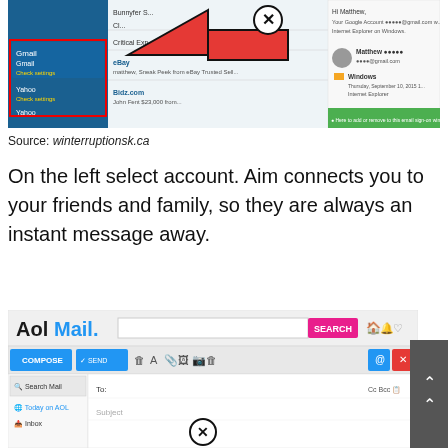[Figure (screenshot): Screenshot showing Gmail/email account settings panel on the left with a red arrow pointing left with an X circle, and a Google account security activity panel on the right showing Matthew's account logged in via Internet Explorer on Windows.]
Source: winterruptionsk.ca
On the left select account. Aim connects you to your friends and family, so they are always an instant message away.
[Figure (screenshot): Screenshot of AOL Mail interface showing compose window with toolbar buttons, search bar, and a close (X) button overlay. An up-arrow scroll button is visible on the right edge.]